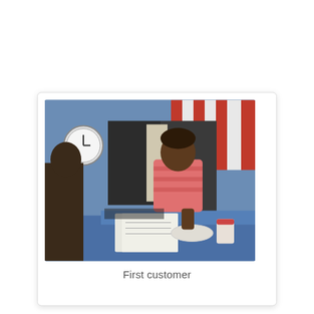[Figure (photo): A child in a pink striped shirt standing behind a blue counter or booth, looking down at papers and a cup on the surface. Red and white striped curtain visible in background. A clock on the blue wall to the left. Another person partially visible on the left side.]
First customer